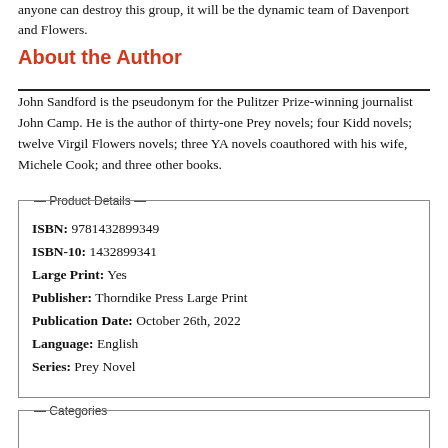anyone can destroy this group, it will be the dynamic team of Davenport and Flowers.
About the Author
John Sandford is the pseudonym for the Pulitzer Prize-winning journalist John Camp. He is the author of thirty-one Prey novels; four Kidd novels; twelve Virgil Flowers novels; three YA novels coauthored with his wife, Michele Cook; and three other books.
| ISBN: | 9781432899349 |
| ISBN-10: | 1432899341 |
| Large Print: | Yes |
| Publisher: | Thorndike Press Large Print |
| Publication Date: | October 26th, 2022 |
| Language: | English |
| Series: | Prey Novel |